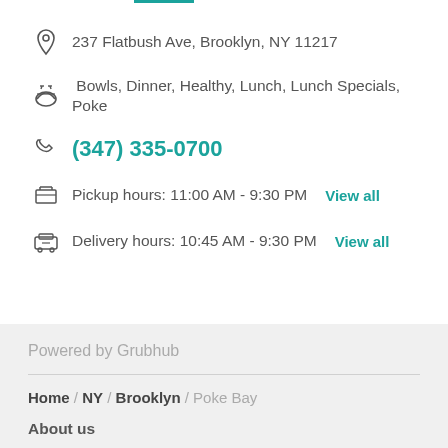237 Flatbush Ave, Brooklyn, NY 11217
Bowls, Dinner, Healthy, Lunch, Lunch Specials, Poke
(347) 335-0700
Pickup hours: 11:00 AM - 9:30 PM   View all
Delivery hours: 10:45 AM - 9:30 PM   View all
Powered by Grubhub
Home / NY / Brooklyn / Poke Bay
About us
Contact us